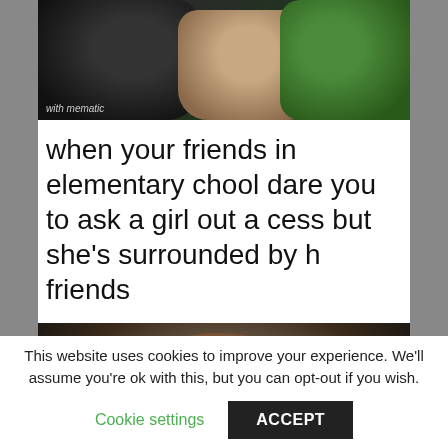[Figure (photo): Top portion of a meme image showing Star Wars characters (Darth Vader on left, a human character in the middle, and a green alien on the right) with 'with mematic' watermark in the lower left corner.]
when your friends in elementary school dare you to ask a girl out a cess but she's surrounded by h friends
[Figure (photo): Bottom portion of meme showing a close-up of a man's face (resembling Ewan McGregor as Obi-Wan Kenobi) with a concerned/serious expression, dark background.]
This website uses cookies to improve your experience. We'll assume you're ok with this, but you can opt-out if you wish.
Cookie settings
ACCEPT